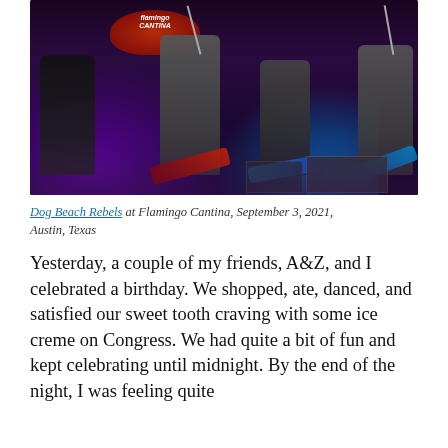[Figure (photo): Concert photo of Dog Beach Rebels performing at Flamingo Cantina. Multiple musicians on stage with electric guitars under purple and blue stage lighting. Flamingo Cantina sign visible in background.]
Dog Beach Rebels at Flamingo Cantina, September 3, 2021, Austin, Texas
Yesterday, a couple of my friends, A&Z, and I celebrated a birthday. We shopped, ate, danced, and satisfied our sweet tooth craving with some ice creme on Congress. We had quite a bit of fun and kept celebrating until midnight. By the end of the night, I was feeling quite